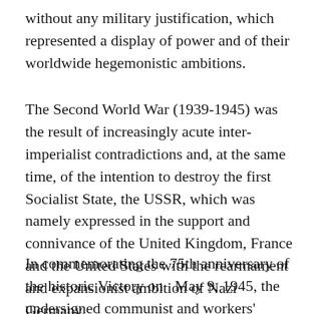without any military justification, which represented a display of power and of their world-wide hegemonistic ambitions.
The Second World War (1939-1945) was the result of increasingly acute inter-imperialist contradictions and, at the same time, of the intention to destroy the first Socialist State, the USSR, which was namely expressed in the support and connivance of the United Kingdom, France and the United States with the rearmament and expansionist ambition of Nazi Germany.
In commemorating the 75th anniversary of the historic Victory on  May 9, 1945, the undersigned communist and workers' parties, certain in the